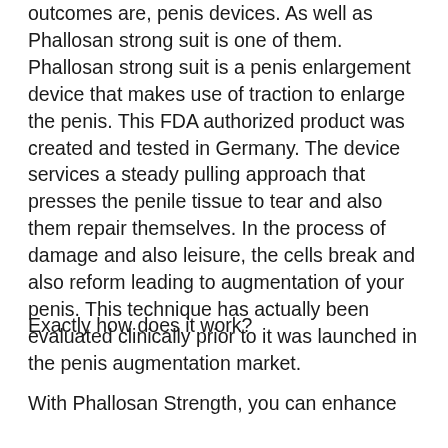outcomes are, penis devices. As well as Phallosan strong suit is one of them. Phallosan strong suit is a penis enlargement device that makes use of traction to enlarge the penis. This FDA authorized product was created and tested in Germany. The device services a steady pulling approach that presses the penile tissue to tear and also them repair themselves. In the process of damage and also leisure, the cells break and also reform leading to augmentation of your penis. This technique has actually been evaluated clinically prior to it was launched in the penis augmentation market.
Exactly how does it work?
With Phallosan Strength, you can enhance